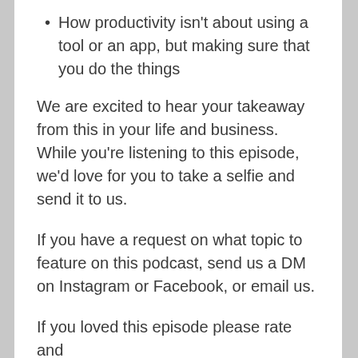How productivity isn't about using a tool or an app, but making sure that you do the things
We are excited to hear your takeaway from this in your life and business. While you're listening to this episode, we'd love for you to take a selfie and send it to us.
If you have a request on what topic to feature on this podcast, send us a DM on Instagram or Facebook, or email us.
If you loved this episode please rate and